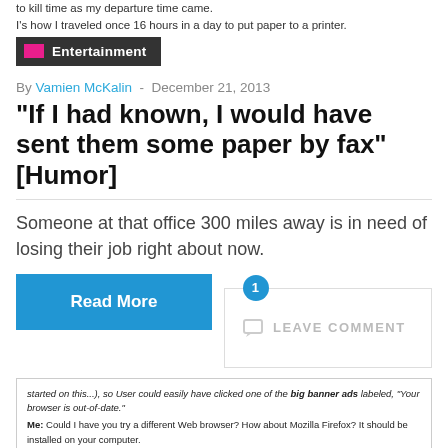to kill time as my departure time came.
I's how I traveled once 16 hours in a day to put paper to a printer.
Entertainment
By Vamien McKalin  -  December 21, 2013
“If I had known, I would have sent them some paper by fax” [Humor]
Someone at that office 300 miles away is in need of losing their job right about now.
Read More
1  LEAVE COMMENT
[Figure (screenshot): Screenshot of a chat log showing a tech support conversation. Text includes: 'started on this...), so User could easily have clicked one of the big banner ads labeled, "Your browser is out-of-date."' Me: Could I have you try a different Web browser? How about Mozilla Firefox? It should be installed on your computer. Pause. I assume he's contemplating the meaning of life. Me: You might have a desktop icon for it. Otherwise, you can get to it in the Start menu by typing "Firefox." Another pause. He must have a lot to contemplate. Me: Is that working for you? User: Yeah, it comes up, but I cen't... Me: I'm sorry, could you repeat that? User: I DON'T LET FOX (highlighted)]